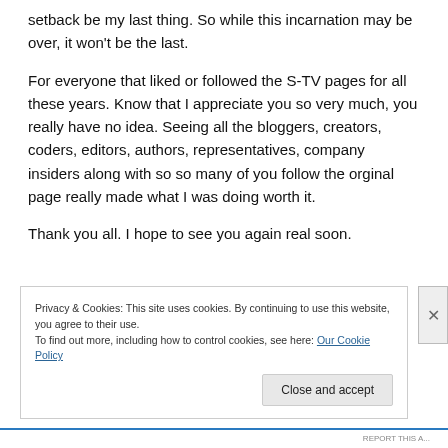setback be my last thing. So while this incarnation may be over, it won't be the last.
For everyone that liked or followed the S-TV pages for all these years. Know that I appreciate you so very much, you really have no idea. Seeing all the bloggers, creators, coders, editors, authors, representatives, company insiders along with so so many of you follow the orginal page really made what I was doing worth it.
Thank you all. I hope to see you again real soon.
Privacy & Cookies: This site uses cookies. By continuing to use this website, you agree to their use. To find out more, including how to control cookies, see here: Our Cookie Policy
Close and accept